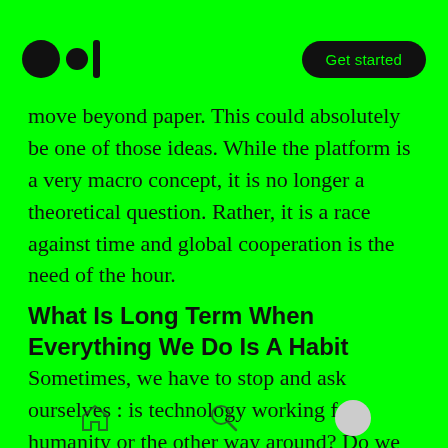Medium logo | Get started
move beyond paper. This could absolutely be one of those ideas. While the platform is a very macro concept, it is no longer a theoretical question. Rather, it is a race against time and global cooperation is the need of the hour.
What Is Long Term When Everything We Do Is A Habit
Sometimes, we have to stop and ask ourselves : is technology working for humanity or the other way around? Do we need the extent of automation we are proceeding towards? Of
Home | Search | Profile